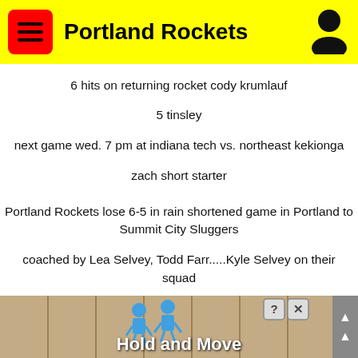Portland Rockets
6 hits on returning rocket cody krumlauf
5 tinsley
next game wed. 7 pm at indiana tech vs. northeast kekionga
zach short starter
Portland Rockets lose 6-5 in rain shortened game in Portland to Summit City Sluggers
coached by Lea Selvey, Todd Farr.....Kyle Selvey on their squad
HR Tinsley, Becher
Thobe, Jacks pitch for rockets
record 6-4
next up rockets vs. mishawaka brewers sat 1pm at bethel college
rockets will stay at holiday inn express in valpo
they have 2 amenities we like, breakfast and pool
then we play sun 2pm their time at Hammond Riverside park
pro scouts in attendance, fresh off draft
for more game info click new news items
[Figure (screenshot): Advertisement banner showing 'Hold and Move' app with blue figures and close/help buttons]